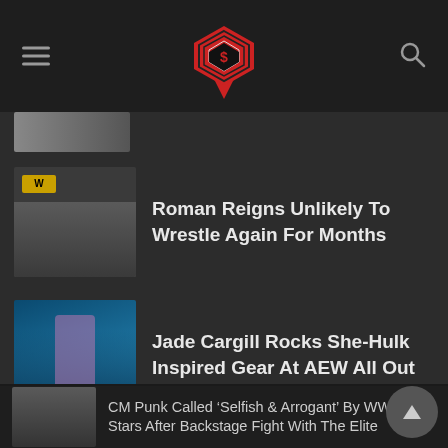Wrestling news site header with logo, hamburger menu, and search icon
[Figure (screenshot): Partially visible article thumbnail at top of feed]
[Figure (photo): Roman Reigns photo thumbnail with WWE logo]
Roman Reigns Unlikely To Wrestle Again For Months
[Figure (photo): Jade Cargill photo thumbnail in blue outfit]
Jade Cargill Rocks She-Hulk Inspired Gear At AEW All Out
[Figure (photo): CM Punk partial photo thumbnail]
CM Punk Called &#8216;Selfish &#038; Arrogant&#8217; By WWE Stars After Backstage Fight With The Elite